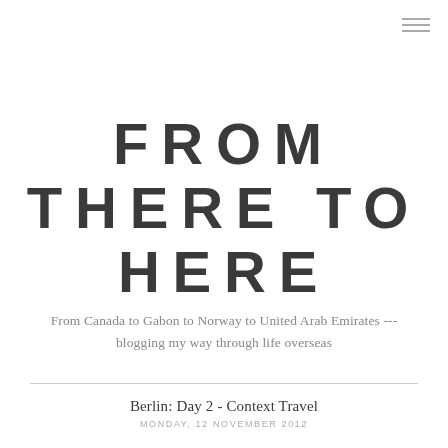FROM THERE TO HERE
From Canada to Gabon to Norway to United Arab Emirates --- blogging my way through life overseas
Berlin: Day 2 - Context Travel
MONDAY, 12 NOVEMBER 2012